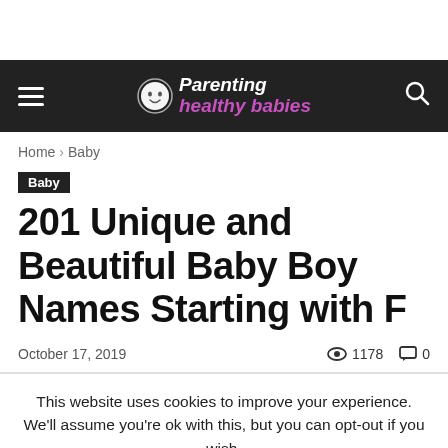Parenting healthy babies
Home › Baby
Baby
201 Unique and Beautiful Baby Boy Names Starting with F
October 17, 2019  1178  0
This website uses cookies to improve your experience. We'll assume you're ok with this, but you can opt-out if you wish.
Cookie settings  ACCEPT